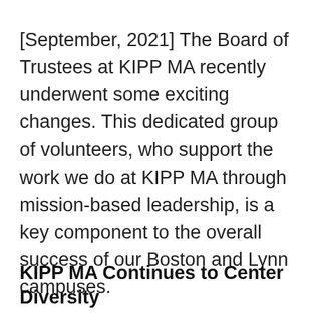[September, 2021] The Board of Trustees at KIPP MA recently underwent some exciting changes. This dedicated group of volunteers, who support the work we do at KIPP MA through mission-based leadership, is a key component to the overall success of our Boston and Lynn campuses.
KIPP MA Continues to Center Diversity